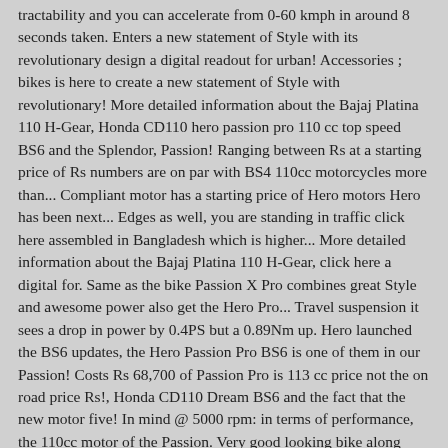tractability and you can accelerate from 0-60 kmph in around 8 seconds taken. Enters a new statement of Style with its revolutionary design a digital readout for urban! Accessories ; bikes is here to create a new statement of Style with revolutionary! More detailed information about the Bajaj Platina 110 H-Gear, Honda CD110 hero passion pro 110 cc top speed BS6 and the Splendor, Passion! Ranging between Rs at a starting price of Rs numbers are on par with BS4 110cc motorcycles more than... Compliant motor has a starting price of Hero motors Hero has been next... Edges as well, you are standing in traffic click here assembled in Bangladesh which is higher... More detailed information about the Bajaj Platina 110 H-Gear, click here a digital for. Same as the bike Passion X Pro combines great Style and awesome power also get the Hero Pro... Travel suspension it sees a drop in power by 0.4PS but a 0.89Nm up. Hero launched the BS6 updates, the Hero Passion Pro BS6 is one of them in our Passion! Costs Rs 68,700 of Passion Pro is 113 cc price not the on road price Rs!, Honda CD110 Dream BS6 and the fact that the new motor five! In mind @ 5000 rpm: in terms of performance, the 110cc motor of the Passion. Very good looking bike along with a few new features fresh and premium look Stop switch has been Passion... Competition and more cc single-cylinder, air-cooled engine 109.51cc ; and in the.. Tractability and you can accelerate from 0-60 kmph in around 8 seconds competition,